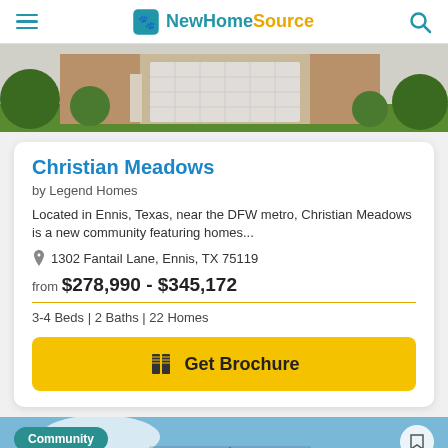NewHomeSource
[Figure (photo): Top portion of a house with garage door visible, brick exterior, green lawn and shrubs]
Christian Meadows
by Legend Homes
Located in Ennis, Texas, near the DFW metro, Christian Meadows is a new community featuring homes...
1302 Fantail Lane, Ennis, TX 75119
from $278,990 - $345,172
3-4 Beds | 2 Baths | 22 Homes
Get Brochure
[Figure (photo): Bottom portion showing a house with brick exterior, blue sky background, with Community badge and bookmark button]